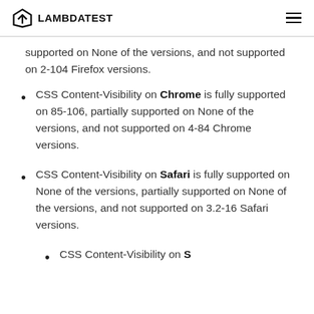LAMBDATEST
supported on None of the versions, and not supported on 2-104 Firefox versions.
CSS Content-Visibility on Chrome is fully supported on 85-106, partially supported on None of the versions, and not supported on 4-84 Chrome versions.
CSS Content-Visibility on Safari is fully supported on None of the versions, partially supported on None of the versions, and not supported on 3.2-16 Safari versions.
CSS Content-Visibility on [partially visible at bottom]